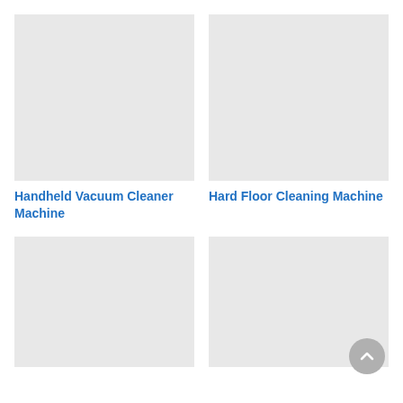[Figure (photo): Placeholder image for Handheld Vacuum Cleaner Machine (light gray box)]
[Figure (photo): Placeholder image for Hard Floor Cleaning Machine (light gray box)]
Handheld Vacuum Cleaner Machine
Hard Floor Cleaning Machine
[Figure (photo): Placeholder image for a third product (light gray box, partially visible)]
[Figure (photo): Placeholder image for a fourth product (light gray box, partially visible)]